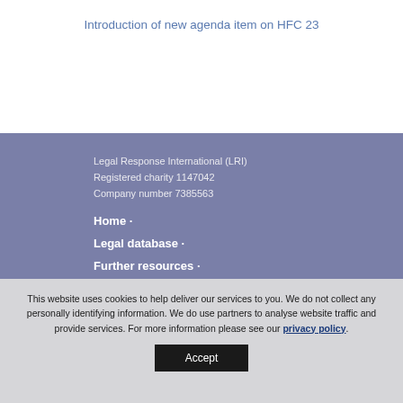Introduction of new agenda item on HFC 23
Legal Response International (LRI)
Registered charity 1147042
Company number 7385563
Home ·
Legal database ·
Further resources ·
This website uses cookies to help deliver our services to you. We do not collect any personally identifying information. We do use partners to analyse website traffic and provide services. For more information please see our privacy policy.
Accept